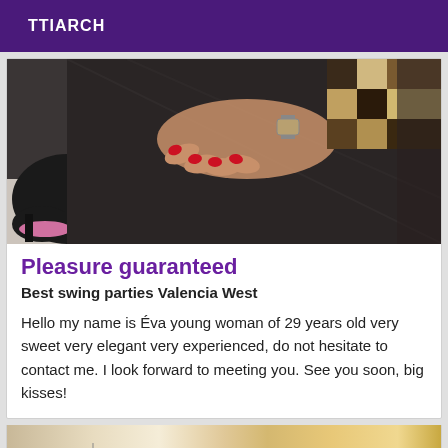TTIARCH
[Figure (photo): Photo showing a person's hand with red nails resting on dark fabric/clothing, wearing a watch, with a checkered pattern visible in the background. Black high heel shoes visible on the left.]
Pleasure guaranteed
Best swing parties Valencia West
Hello my name is Éva young woman of 29 years old very sweet very elegant very experienced, do not hesitate to contact me. I look forward to meeting you. See you soon, big kisses!
[Figure (photo): Partial photo showing what appears to be a cream/beige interior with curtain-like elements in orange/yellow tones.]